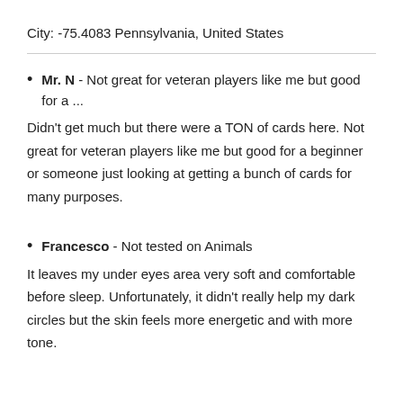City: -75.4083 Pennsylvania, United States
Mr. N - Not great for veteran players like me but good for a ...
Didn't get much but there were a TON of cards here. Not great for veteran players like me but good for a beginner or someone just looking at getting a bunch of cards for many purposes.
Francesco - Not tested on Animals
It leaves my under eyes area very soft and comfortable before sleep. Unfortunately, it didn't really help my dark circles but the skin feels more energetic and with more tone.